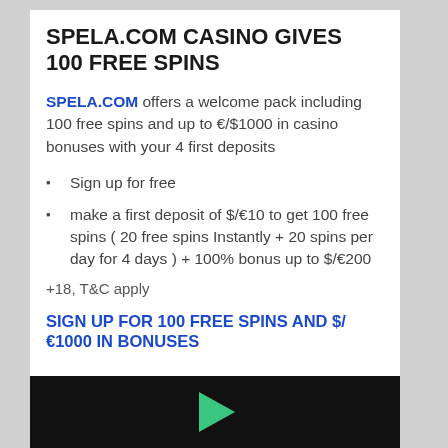SPELA.COM CASINO GIVES 100 FREE SPINS
SPELA.COM offers a welcome pack including 100 free spins and up to €/$1000 in casino bonuses with your 4 first deposits
Sign up for free
make a first deposit of $/€10 to get 100 free spins ( 20 free spins Instantly + 20 spins per day for 4 days ) + 100% bonus up to $/€200
+18, T&C apply
SIGN UP FOR 100 FREE SPINS AND $/€1000 IN BONUSES
[Figure (screenshot): Dark image strip at the bottom with a green play/arrow icon visible]